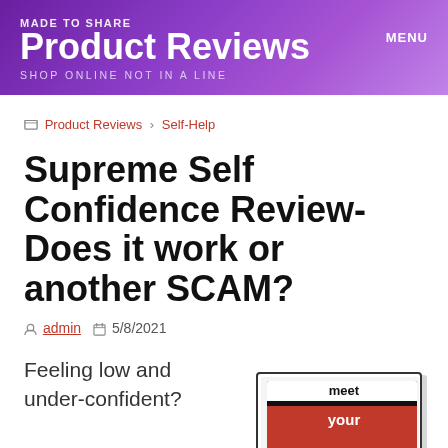MADE TO SHARE | Product Reviews | SHOP ONLINE NOT IN A LINE | MENU
Product Reviews › Self-Help
Supreme Self Confidence Review- Does it work or another SCAM?
admin  5/8/2021
Feeling low and under-confident?
[Figure (photo): Book cover showing 'meet your...' text, partially visible at bottom right corner]